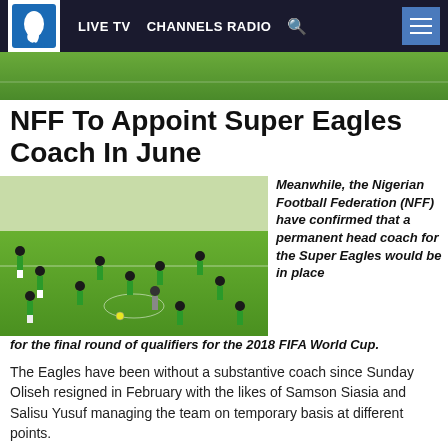LIVE TV  CHANNELS RADIO
[Figure (photo): Channels TV logo with blue Africa map icon on white background]
[Figure (photo): Football players in green and white uniforms training on a grass pitch]
NFF To Appoint Super Eagles Coach In June
Meanwhile, the Nigerian Football Federation (NFF) have confirmed that a permanent head coach for the Super Eagles would be in place for the final round of qualifiers for the 2018 FIFA World Cup.
The Eagles have been without a substantive coach since Sunday Oliseh resigned in February with the likes of Samson Siasia and Salisu Yusuf managing the team on temporary basis at different points.
According to the NFF Technical Committee, a technical crew led by either a local or foreign coach would be appointed after the upcoming